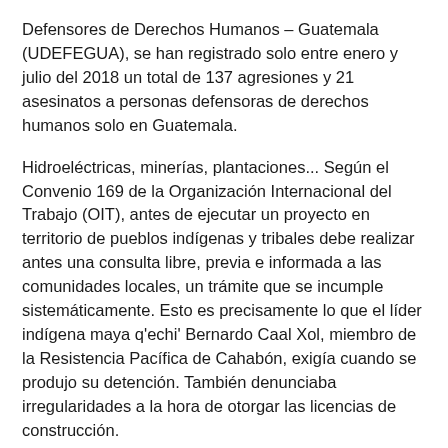Defensores de Derechos Humanos – Guatemala (UDEFEGUA), se han registrado solo entre enero y julio del 2018 un total de 137 agresiones y 21 asesinatos a personas defensoras de derechos humanos solo en Guatemala.
Hidroeléctricas, minerías, plantaciones... Según el Convenio 169 de la Organización Internacional del Trabajo (OIT), antes de ejecutar un proyecto en territorio de pueblos indígenas y tribales debe realizar antes una consulta libre, previa e informada a las comunidades locales, un trámite que se incumple sistemáticamente. Esto es precisamente lo que el líder indígena maya q'echi' Bernardo Caal Xol, miembro de la Resistencia Pacífica de Cahabón, exigía cuando se produjo su detención. También denunciaba irregularidades a la hora de otorgar las licencias de construcción.
Fue encarcelado el 30 de enero bajo acusaciones infundadas y mañana viernes se conocerá la sentencia.